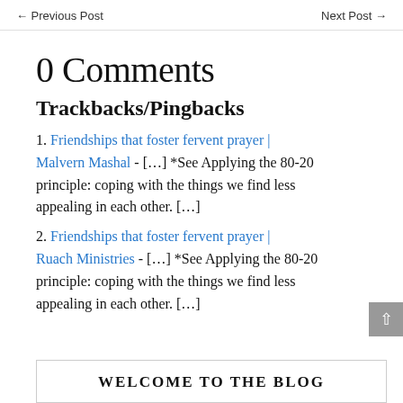← Previous Post    Next Post →
0 Comments
Trackbacks/Pingbacks
1. Friendships that foster fervent prayer | Malvern Mashal - […] *See Applying the 80-20 principle: coping with the things we find less appealing in each other. […]
2. Friendships that foster fervent prayer | Ruach Ministries - […] *See Applying the 80-20 principle: coping with the things we find less appealing in each other. […]
Welcome to the Blog